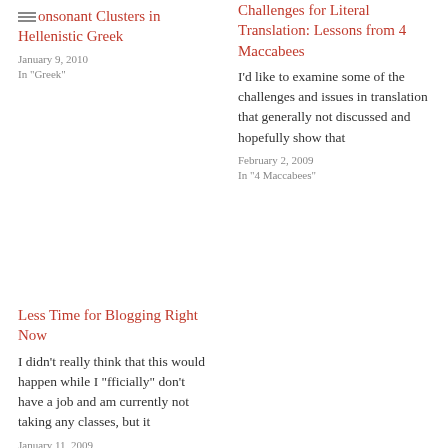Consonant Clusters in Hellenistic Greek
January 9, 2010
In "Greek"
Challenges for Literal Translation: Lessons from 4 Maccabees
I'd like to examine some of the challenges and issues in translation that generally not discussed and hopefully show that
February 2, 2009
In "4 Maccabees"
Less Time for Blogging Right Now
I didn't really think that this would happen while I "fficially" don't have a job and am currently not taking any classes, but it
January 11, 2009